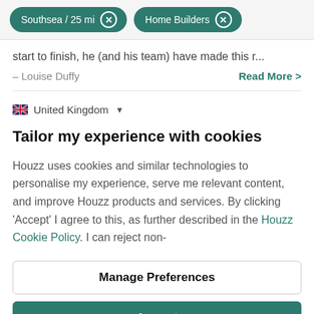Southsea / 25 mi  ×   Home Builders  ×
start to finish, he (and his team) have made this r...
– Louise Duffy
Read More >
🇬🇧 United Kingdom ▾
Tailor my experience with cookies
Houzz uses cookies and similar technologies to personalise my experience, serve me relevant content, and improve Houzz products and services. By clicking 'Accept' I agree to this, as further described in the Houzz Cookie Policy. I can reject non-
Manage Preferences
Accept